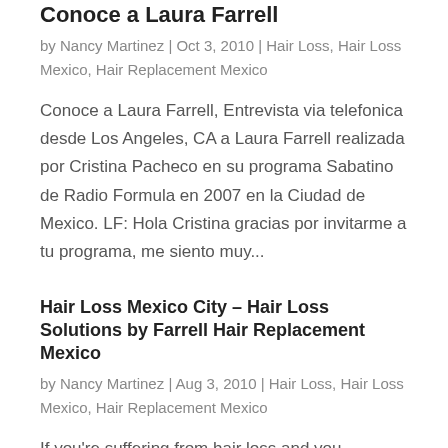Conoce a Laura Farrell
by Nancy Martinez | Oct 3, 2010 | Hair Loss, Hair Loss Mexico, Hair Replacement Mexico
Conoce a Laura Farrell, Entrevista via telefonica desde Los Angeles, CA a Laura Farrell realizada por Cristina Pacheco en su programa Sabatino de Radio Formula en 2007 en la Ciudad de Mexico. LF: Hola Cristina gracias por invitarme a tu programa, me siento muy...
Hair Loss Mexico City – Hair Loss Solutions by Farrell Hair Replacement Mexico
by Nancy Martinez | Aug 3, 2010 | Hair Loss, Hair Loss Mexico, Hair Replacement Mexico
If you're suffering from hair loss and you